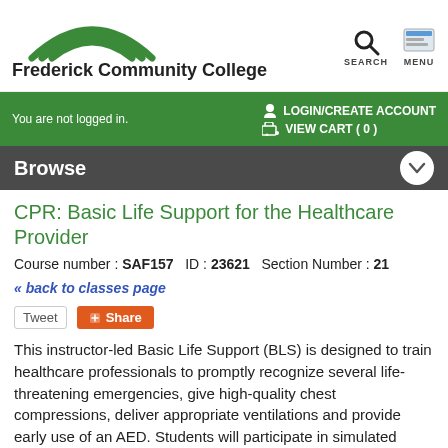[Figure (logo): Frederick Community College logo with green rainbow arc above the college name text]
[Figure (screenshot): Search icon (magnifying glass) and Menu icon (grid/table icon) with labels SEARCH and MENU]
You are not logged in.
LOGIN/CREATE ACCOUNT  VIEW CART ( 0 )
Browse
CPR: Basic Life Support for the Healthcare Provider
Course number : SAF157   ID : 23621   Section Number : 21
« back to classes page
Tweet  Share
This instructor-led Basic Life Support (BLS) is designed to train healthcare professionals to promptly recognize several life-threatening emergencies, give high-quality chest compressions, deliver appropriate ventilations and provide early use of an AED. Students will participate in simulated clinical scenarios and learning stations. Students work with